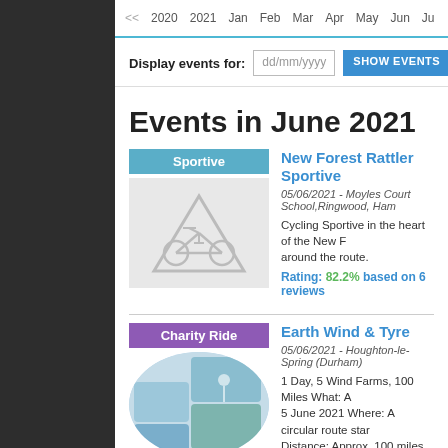<< 2020  2021  Jan  Feb  Mar  Apr  May  Jun  Ju
Display events for: dd/mm/yyyy  SHOW EVENTS
Events in June 2021
Sportive
New Forest Rattler Sportive
05/06/2021 - Moyles Court School,Ringwood, Ham
Cycling Sportive in the heart of the New F... around the route.
Rating: 82.2% based on 6 reviews
Charity Ride
Earth Wind & Tyre
05/06/2021 - Houghton-le-Spring (Durham)
1 Day, 5 Wind Farms, 100 Miles What: A 5 June 2021 Where: A circular route star Distance: Approx. 100 miles Physi...